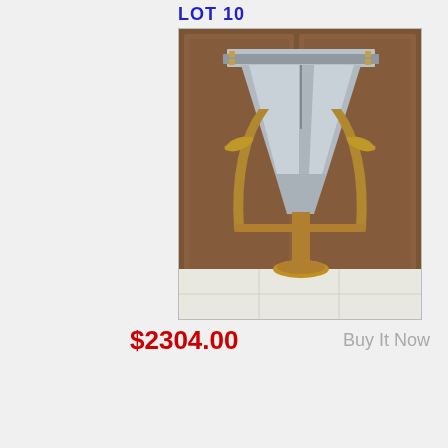LOT 10
[Figure (photo): A metal funnel-shaped vessel or instrument mounted on a brass pedestal stand with brass wing-nut fittings, photographed in front of a dark wood cabinet on a white tiled floor.]
$2304.00   Buy It Now